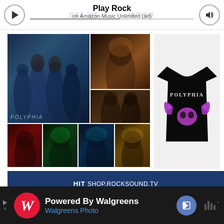[Figure (screenshot): Music player bar with play button, 'Play Rock' title, 'on Amazon Music Unlimited (ad)' subtitle, progress bar, and volume button. Background shows faint text 'GET WE... IPPING'.]
[Figure (photo): Band photo collage grid: top-left large photo shows 4 band members in blue-tinted light wearing ornate outfits; top-right shows close-up of one member; bottom-right small shows two members; bottom row shows 4 separate portrait photos of band members with red, green, blue-teal, and warm lighting.]
[Figure (photo): Black t-shirt product photo with 'POLYPHIA' text in gothic font and a stylized purple/pink ram skull graphic on the front.]
HIT SHOP.ROCKSOUND.TV TO GET YOURS WORLDWIDE!
[Figure (photo): Dark near-black starry sky background image, partially visible, appearing to show a faint outline or symbol.]
[Figure (screenshot): Bottom advertisement bar: dark background with Walgreens red W logo, 'Powered By Walgreens' in white bold text, 'Walgreens Photo' in blue text, blue navigation arrow icon, and sound/music bars icon on far right. Small triangle and X ad indicator on left side.]